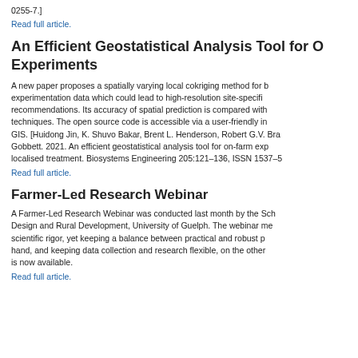0255-7.]
Read full article.
An Efficient Geostatistical Analysis Tool for O... Experiments
A new paper proposes a spatially varying local cokriging method for b... experimentation data which could lead to high-resolution site-specifi... recommendations. Its accuracy of spatial prediction is compared with... techniques. The open source code is accessible via a user-friendly in... GIS. [Huidong Jin, K. Shuvo Bakar, Brent L. Henderson, Robert G.V. Bra... Gobbett. 2021. An efficient geostatistical analysis tool for on-farm exp... localised treatment. Biosystems Engineering 205:121–136, ISSN 1537–5
Read full article.
Farmer-Led Research Webinar
A Farmer-Led Research Webinar was conducted last month by the Sch... Design and Rural Development, University of Guelph. The webinar m... scientific rigor, yet keeping a balance between practical and robust p... hand, and keeping data collection and research flexible, on the other... is now available.
Read full article.